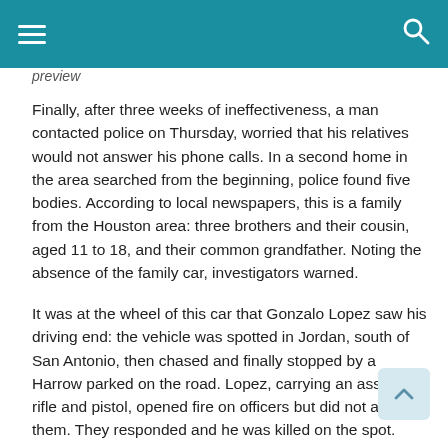≡  [search icon]
preview
Finally, after three weeks of ineffectiveness, a man contacted police on Thursday, worried that his relatives would not answer his phone calls. In a second home in the area searched from the beginning, police found five bodies. According to local newspapers, this is a family from the Houston area: three brothers and their cousin, aged 11 to 18, and their common grandfather. Noting the absence of the family car, investigators warned.
It was at the wheel of this car that Gonzalo Lopez saw his driving end: the vehicle was spotted in Jordan, south of San Antonio, then chased and finally stopped by a Harrow parked on the road. Lopez, carrying an assault rifle and pistol, opened fire on officers but did not attack them. They responded and he was killed on the spot.
This is “the result of an experiment,” said Jason Clark, head of the prison administration in the southern United States.